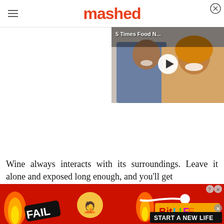mashed
[Figure (screenshot): Video thumbnail showing two people (man and woman smiling) with title '5 Times Food N...' and a white play button circle overlay]
Wine always interacts with its surroundings. Leave it alone and exposed long enough, and you'll get...
[Figure (infographic): Advertisement banner for BitLife game showing FAIL text, emoji, flame graphics, and 'START A NEW LIFE' text on red/orange background]